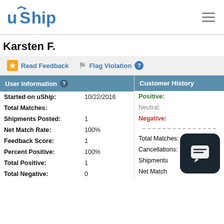uShip
Karsten F.
Read Feedback
Flag Violation
User Information
Customer History
| Field | Value |
| --- | --- |
| Started on uShip: | 10/22/2016 |
| Total Matches: |  |
| Shipments Posted: | 1 |
| Net Match Rate: | 100% |
| Feedback Score: | 1 |
| Percent Positive: | 100% |
| Total Positive: | 1 |
| Total Negative: | 0 |
| Field | Value |
| --- | --- |
| Positive: |  |
| Neutral: |  |
| Negative: |  |
| Total Matches: |  |
| Cancellations: |  |
| Shipments: |  |
| Net Match: |  |